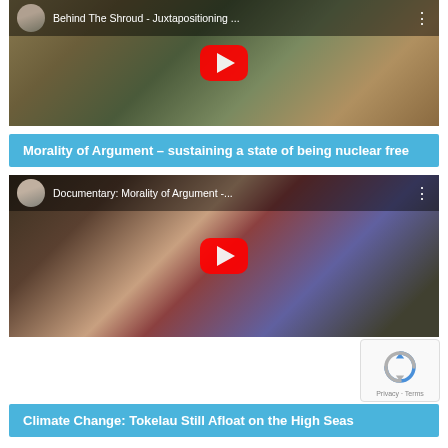[Figure (screenshot): YouTube video thumbnail for 'Behind The Shroud - Juxtapositioning...' showing a man seated, with red play button overlay and channel avatar in top bar]
Morality of Argument – sustaining a state of being nuclear free
[Figure (screenshot): YouTube video thumbnail for 'Documentary: Morality of Argument -...' showing a woman at a podium with US flag, red play button overlay and channel avatar in top bar]
[Figure (logo): Google reCAPTCHA widget with spinning arrows icon and Privacy/Terms text]
Climate Change: Tokelau Still Afloat on the High Seas